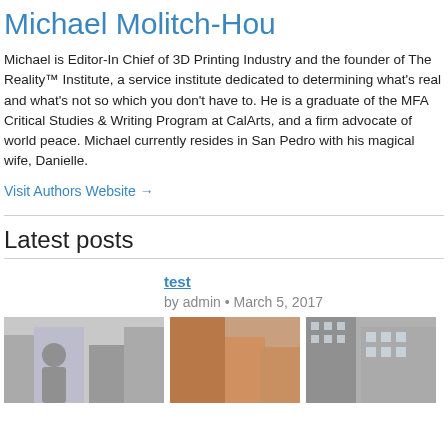Michael Molitch-Hou
Michael is Editor-In Chief of 3D Printing Industry and the founder of The Reality™ Institute, a service institute dedicated to determining what's real and what's not so which you don't have to. He is a graduate of the MFA Critical Studies & Writing Program at CalArts, and a firm advocate of world peace. Michael currently resides in San Pedro with his magical wife, Danielle.
Visit Authors Website →
Latest posts
test
by admin • March 5, 2017
[Figure (photo): Three images showing city buildings and people, partially visible at bottom of page]